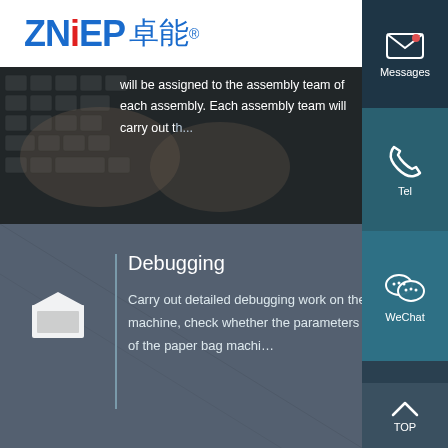[Figure (logo): ZNEP 卓能 company logo in blue with red dot on i]
will be assigned to the assembly team of each assembly. Each assembly team will carry out th...
[Figure (photo): Hands typing on a laptop keyboard, dark overlay]
[Figure (illustration): White box/package icon]
Debugging
Carry out detailed debugging work on the assembled machine, check whether the parameters and indexes of the paper bag machi...
[Figure (infographic): Messages sidebar icon with envelope symbol]
[Figure (infographic): Tel sidebar icon with phone symbol]
[Figure (infographic): WeChat sidebar icon with chat bubble symbol]
TOP